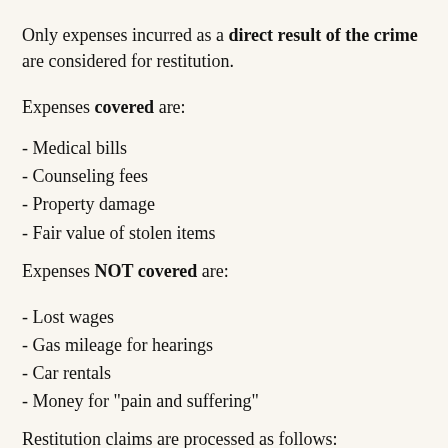Only expenses incurred as a direct result of the crime are considered for restitution.
Expenses covered are:
- Medical bills
- Counseling fees
- Property damage
- Fair value of stolen items
Expenses NOT covered are:
- Lost wages
- Gas mileage for hearings
- Car rentals
- Money for "pain and suffering"
Restitution claims are processed as follows:
- Court decides and orders the restitution at the time of